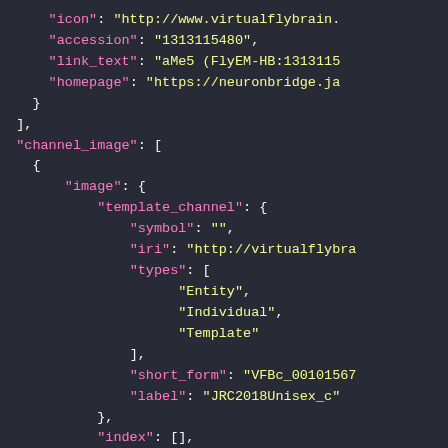JSON code snippet showing channel_image structure with template_channel fields including symbol, iri, types (Entity, Individual, Template), short_form, label, and index